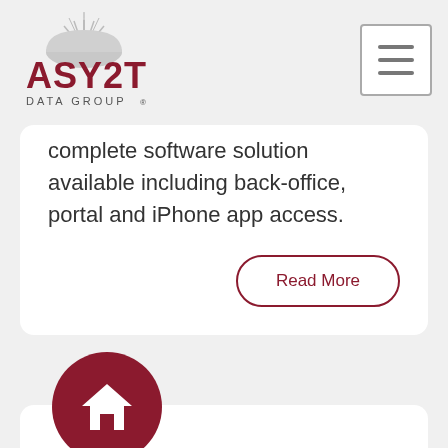[Figure (logo): ASYST Data Group logo with sunburst icon]
complete software solution available including back-office, portal and iPhone app access.
Read More
[Figure (illustration): Dark red circle with white house/home icon]
Homeowner Online Account Inquiry
Reduce the number of calls to your office from homeowners, asking if their